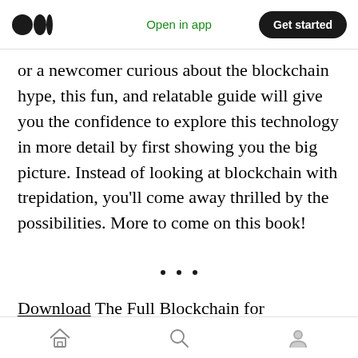Open in app | Get started
or a newcomer curious about the blockchain hype, this fun, and relatable guide will give you the confidence to explore this technology in more detail by first showing you the big picture. Instead of looking at blockchain with trepidation, you’ll come away thrilled by the possibilities. More to come on this book!
· · ·
Download The Full Blockchain for Infrastructure Landscape
Home | Search | Profile